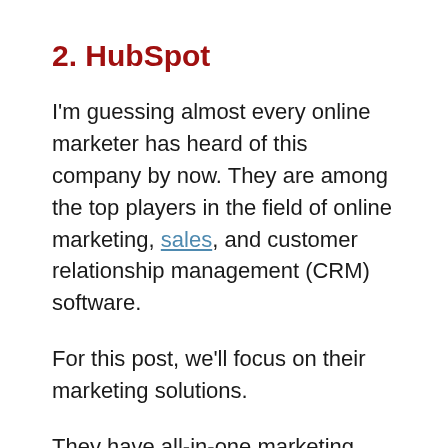2. HubSpot
I'm guessing almost every online marketer has heard of this company by now. They are among the top players in the field of online marketing, sales, and customer relationship management (CRM) software.
For this post, we'll focus on their marketing solutions.
They have all-in-one marketing software that you can use for the